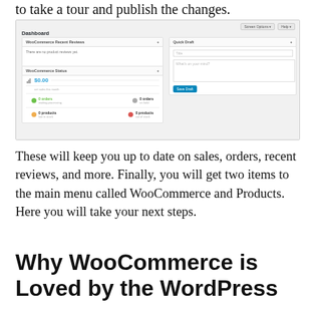to take a tour and publish the changes.
[Figure (screenshot): WordPress admin Dashboard screenshot showing WooCommerce Recent Reviews panel (no product reviews yet), WooCommerce Status panel with $0.00 sales, 0 orders, 0 products metrics, and a Quick Draft panel with Title and What's on your mind fields and a Save Draft button.]
These will keep you up to date on sales, orders, recent reviews, and more. Finally, you will get two items to the main menu called WooCommerce and Products. Here you will take your next steps.
Why WooCommerce is Loved by the WordPress